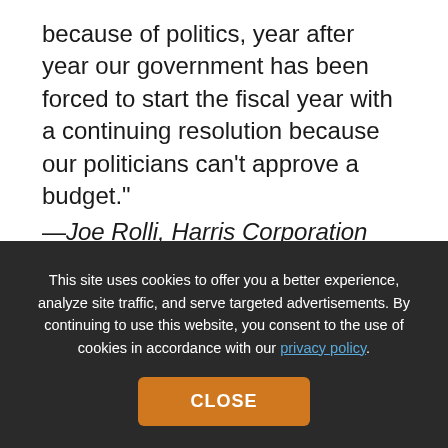because of politics, year after year our government has been forced to start the fiscal year with a continuing resolution because our politicians can’t approve a budget.”
—Joe Rolli, Harris Corporation
Services. “We’ve been manufacturing GPS simulators for the past 30 years. This year we launch a new product, SimMNSA. We’re currently in the final test phase of this new M-code option and we’ll be delivering to several authorized customers by the end
This site uses cookies to offer you a better experience, analyze site traffic, and serve targeted advertisements. By continuing to use this website, you consent to the use of cookies in accordance with our privacy policy.